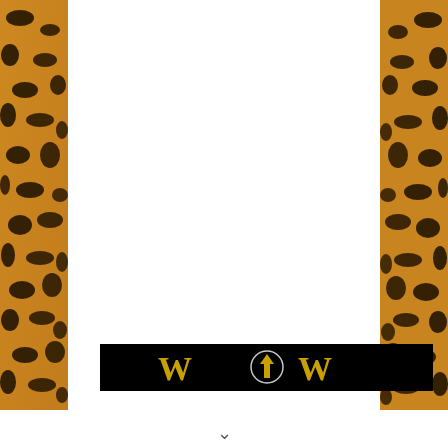[Figure (illustration): Leopard print fur texture panel on the left side of the page]
[Figure (illustration): Leopard print fur texture panel on the right side of the page]
[Figure (logo): Black bar with gold/yellow stylized 'W' letters on either side of a circled upward arrow icon, spelling WoW]
v